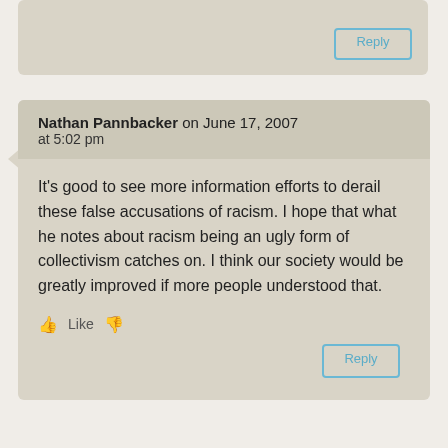Reply
Nathan Pannbacker on June 17, 2007 at 5:02 pm
It’s good to see more information efforts to derail these false accusations of racism. I hope that what he notes about racism being an ugly form of collectivism catches on. I think our society would be greatly improved if more people understood that.
Like  [thumbs up] [thumbs down]
Reply